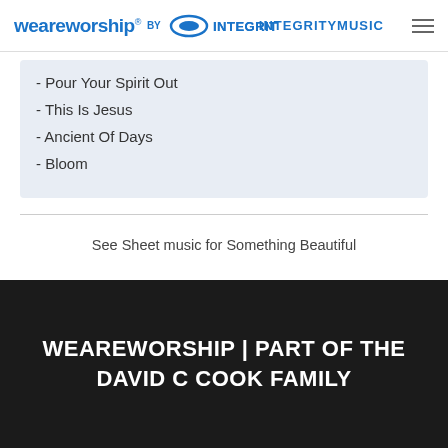weareworship® BY INTEGRITYMUSIC
- Pour Your Spirit Out
- This Is Jesus
- Ancient Of Days
- Bloom
See Sheet music for Something Beautiful
WEAREWORSHIP | PART OF THE DAVID C COOK FAMILY